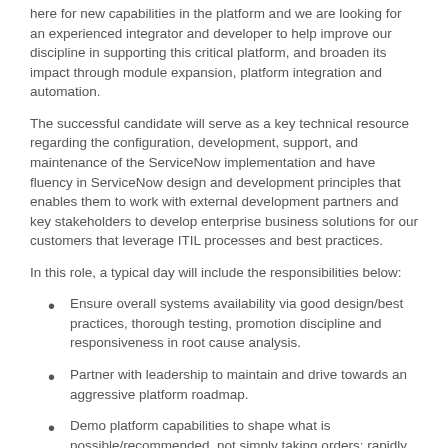here for new capabilities in the platform and we are looking for an experienced integrator and developer to help improve our discipline in supporting this critical platform, and broaden its impact through module expansion, platform integration and automation.
The successful candidate will serve as a key technical resource regarding the configuration, development, support, and maintenance of the ServiceNow implementation and have fluency in ServiceNow design and development principles that enables them to work with external development partners and key stakeholders to develop enterprise business solutions for our customers that leverage ITIL processes and best practices.
In this role, a typical day will include the responsibilities below:
Ensure overall systems availability via good design/best practices, thorough testing, promotion discipline and responsiveness in root cause analysis.
Partner with leadership to maintain and drive towards an aggressive platform roadmap.
Demo platform capabilities to shape what is possible/recommended, not simply taking orders; rapidly prototype new solutions.
Interact with platform customers and translate their business...